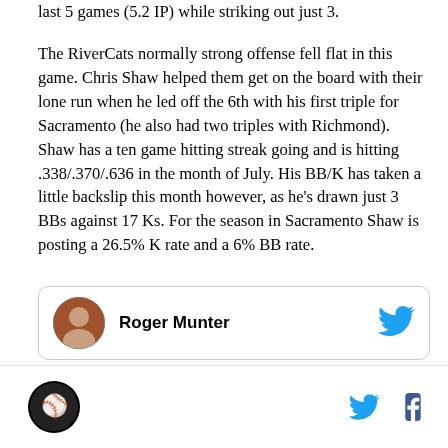last 5 games (5.2 IP) while striking out just 3.
The RiverCats normally strong offense fell flat in this game. Chris Shaw helped them get on the board with their lone run when he led off the 6th with his first triple for Sacramento (he also had two triples with Richmond). Shaw has a ten game hitting streak going and is hitting .338/.370/.636 in the month of July. His BB/K has taken a little backslip this month however, as he's drawn just 3 BBs against 17 Ks. For the season in Sacramento Shaw is posting a 26.5% K rate and a 6% BB rate.
[Figure (other): Author card with avatar photo of Roger Munter and Twitter bird icon]
Sacramento RiverCats logo, Twitter icon, Facebook icon